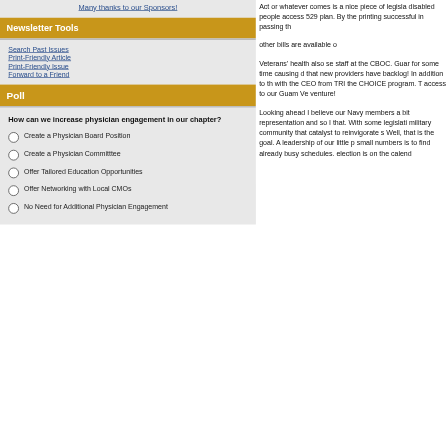Many thanks to our Sponsors!
Newsletter Tools
Search Past Issues
Print-Friendly Article
Print-Friendly Issue
Forward to a Friend
Poll
How can we increase physician engagement in our chapter?
Create a Physician Board Position
Create a Physician Committtee
Offer Tailored Education Opportunities
Offer Networking with Local CMOs
No Need for Additional Physician Engagement
Act or whatever comes is a nice piece of legislation disabled people access 529 plan. By the printing successful in passing th other bills are available o
Veterans' health also se staff at the CBOC. Guar for some time causing d that new providers have backlog! In addition to th with the CEO from TRI the CHOICE program. T access to our Guam Ve venture!
Looking ahead I believe our Navy members a bit representation and so I that. With some legislati military community that catalyst to reinvigorate s Well, that is the goal. A leadership of our little p small numbers is to find already busy schedules. election is on the calend